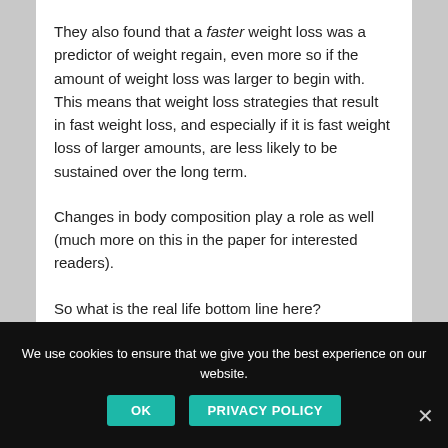They also found that a faster weight loss was a predictor of weight regain, even more so if the amount of weight loss was larger to begin with.   This means that weight loss strategies that result in fast weight loss, and especially if it is fast weight loss of larger amounts, are less likely to be sustained over the long term.
Changes in body composition play a role as well (much more on this in the paper for interested readers).
So what is the real life bottom line here?
We use cookies to ensure that we give you the best experience on our website. OK PRIVACY POLICY